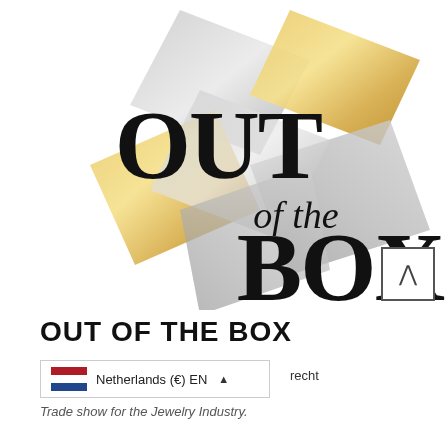[Figure (logo): Out of the Box logo: geometric diamond/rhombus shapes in silver, gold, and grey forming an X pattern, with the text 'OUT of the BOX' overlaid in bold black serif-style font. A small up-arrow button in a square box appears in the lower-right corner of the logo.]
OUT OF THE BOX
Netherlands (€) EN ▲  Utrecht
Trade show for the Jewelry Industry.